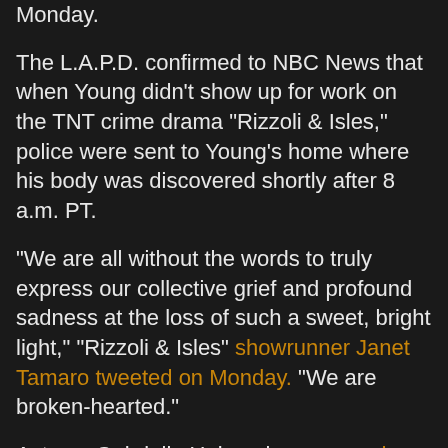Monday.
The L.A.P.D. confirmed to NBC News that when Young didn't show up for work on the TNT crime drama "Rizzoli & Isles," police were sent to Young's home where his body was discovered shortly after 8 a.m. PT.
"We are all without the words to truly express our collective grief and profound sadness at the loss of such a sweet, bright light," "Rizzoli & Isles" showrunner Janet Tamaro tweeted on Monday. "We are broken-hearted."
Actress Gabrielle Union also mourned Young on Twitter, tweeting, "I had the pleasure of working w/ #LeeThompsonYoung on Flash Forward & he was an extremely talented beautiful soul. My thoughts & prayers are with his loved ones."
Young starred on "Jett Jackson" from its 1998 pilot through the show's cancellation in 2001, and